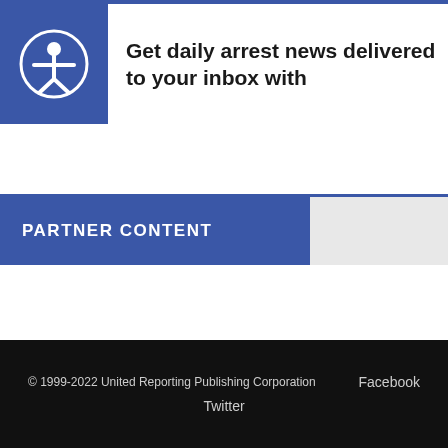Get daily arrest news delivered to your inbox with
PARTNER CONTENT
© 1999-2022 United Reporting Publishing Corporation   Facebook   Twitter